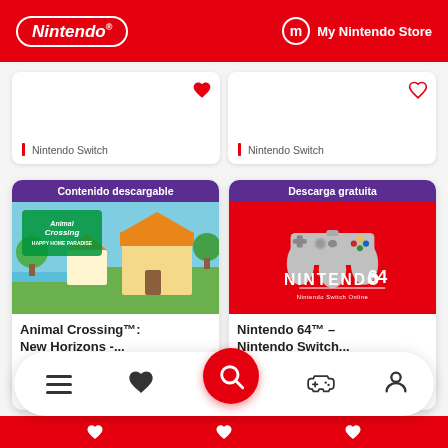Nintendo® My Nintendo Store
Nintendo Switch
Nintendo Switch
[Figure (screenshot): Animal Crossing Happy Home Paradise game card with purple badge 'Contenido descargable' and colorful beach/town scene artwork]
Animal Crossing™: New Horizons -...
[Figure (screenshot): Nintendo 64 Nintendo Switch Online game card with red 'Descarga gratuita' badge, gray N64 controller and Nintendo 64 Nintendo Switch Online logo]
Nintendo 64™ – Nintendo Switch...
Navigation bar with menu, heart, search, game controller, and profile icons